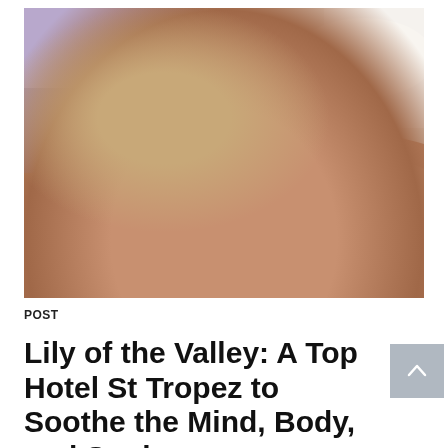[Figure (photo): Close-up spa massage scene: a therapist's hand pouring golden oil from a small glass bottle onto a client's bare back. The client is lying on a purple/lavender massage table with a white towel. The background shows soft lavender tones and white fabric.]
POST
Lily of the Valley: A Top Hotel St Tropez to Soothe the Mind, Body, and Soul